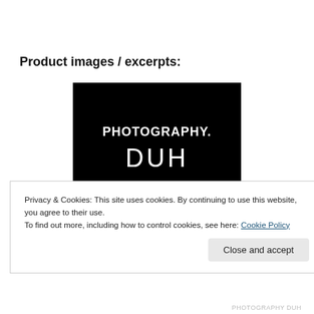Product images / excerpts:
[Figure (photo): Black background image with white text reading 'PHOTOGRAPHY.' on top line and 'DUH' in larger stylized font below]
Privacy & Cookies: This site uses cookies. By continuing to use this website, you agree to their use.
To find out more, including how to control cookies, see here: Cookie Policy
Close and accept